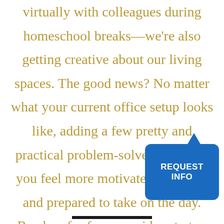virtually with colleagues during homeschool breaks—we're also getting creative about our living spaces. The good news? No matter what your current office setup looks like, adding a few pretty and practical problem-solvers can help you feel more motivated, positive, and prepared to take on the day. Read on for four easy ideas to try.
[Figure (other): Blue rounded rectangle button with speech bubble pointer labeled REQUEST INFO in white bold text]